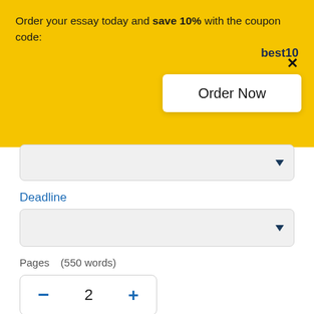Order your essay today and save 10% with the coupon code: best10
[Figure (screenshot): Order Now button on yellow banner]
[Figure (screenshot): Dropdown select box with arrow]
Deadline
[Figure (screenshot): Deadline dropdown select box with arrow]
Pages    (550 words)
[Figure (screenshot): Stepper widget showing minus, 2, plus]
Approximate price: $22
Continue to order